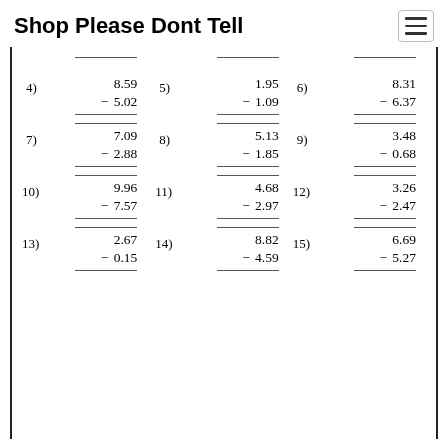Shop Please Dont Tell
| # | Problem |
| --- | --- |
| 4) | 8.59 − 5.02 |
| 5) | 1.95 − 1.09 |
| 6) | 8.31 − 6.37 |
| 7) | 7.09 − 2.88 |
| 8) | 5.13 − 1.85 |
| 9) | 3.48 − 0.68 |
| 10) | 9.96 − 7.57 |
| 11) | 4.68 − 2.97 |
| 12) | 3.26 − 2.47 |
| 13) | 2.67 − 0.15 |
| 14) | 8.82 − 4.59 |
| 15) | 6.69 − 5.27 |